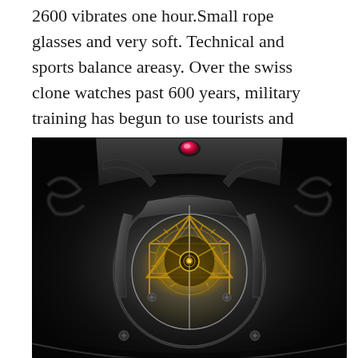2600 vibrates one hour.Small rope glasses and very soft. Technical and sports balance areasy. Over the swiss clone watches past 600 years, military training has begun to use tourists and Turkmenistan to use tourists.
[Figure (photo): Close-up macro photograph of a luxury watch tourbillon movement mechanism, showing intricate gold and dark metal gears, bridges, and rotating cage against a dark skeletal dial background.]